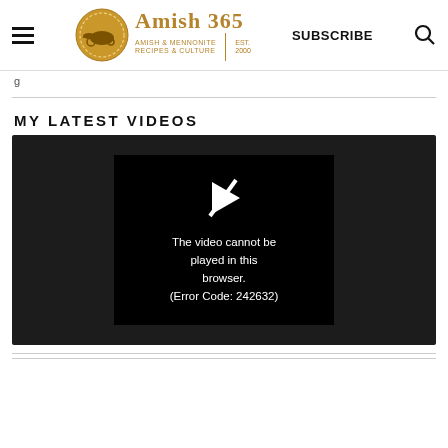Amish 365 — AMISH & MENNONITE RECIPES & CULTURE | EST. 2000 | SUBSCRIBE
g
MY LATEST VIDEOS
[Figure (screenshot): Video player showing error message: The video cannot be played in this browser. (Error Code: 242632)]